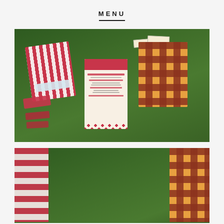MENU
[Figure (photo): Carnival/circus themed party invitation stationery laid out on grass, including a red and white striped envelope, a ticket-style invitation card, a red diamond checkered bag, small flag labels on sticks, and ticket stub decorations.]
[Figure (photo): Close-up of carnival party stationery on grass showing a red and white vertical striped item on the left and a red diamond checkered bag on the right.]